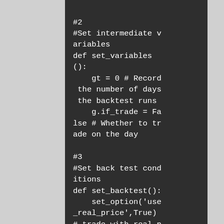#2
#Set intermediate variables
def set_variables():
    gt = 0 # Record the number of days the backtest runs
    g.if_trade = False # Whether to trade on the day

#3
#Set back test conditions
def set_backtest():
    set_option('use_real_price',True)
# trade with real p